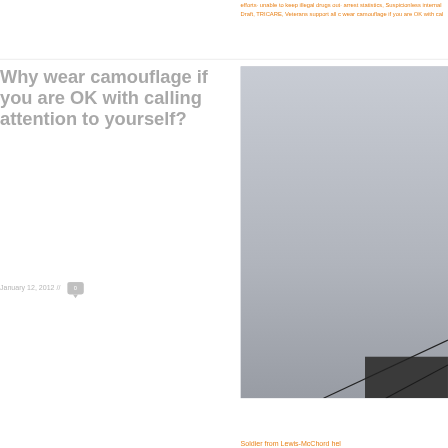efforts· unable to keep illegal drugs out· arrest statistics, Suspicionless internal Draft, TRICARE, Veterans support all c wear camouflage if you are OK with cal
Why wear camouflage if you are OK with calling attention to yourself?
January 12, 2012 // 0
[Figure (photo): Photo of military equipment — grey/overcast sky background with dark object (possibly a weapon or military gear) visible at bottom right corner]
Soldier from Lewis-McChord hel